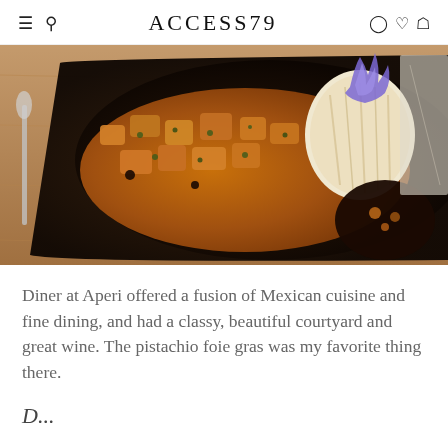ACCESS79
[Figure (photo): A close-up photo of a plated Mexican fusion dish with mole sauce, served in a dark square plate on a wooden table. The dish features chunks of meat in a rich brown sauce with toppings, alongside a pile of shredded ingredients and a decorative garnish with a blue flame.]
Diner at Aperi offered a fusion of Mexican cuisine and fine dining, and had a classy, beautiful courtyard and great wine. The pistachio foie gras was my favorite thing there.
D...